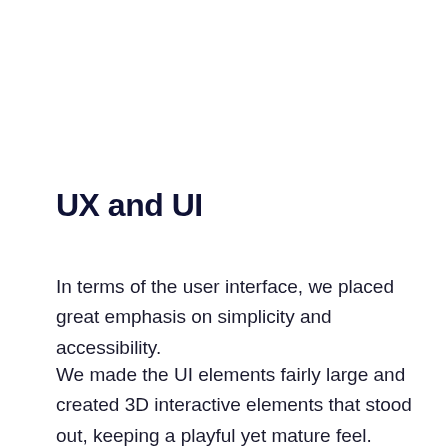UX and UI
In terms of the user interface, we placed great emphasis on simplicity and accessibility.
We made the UI elements fairly large and created 3D interactive elements that stood out, keeping a playful yet mature feel. Layered screens keep the navigation